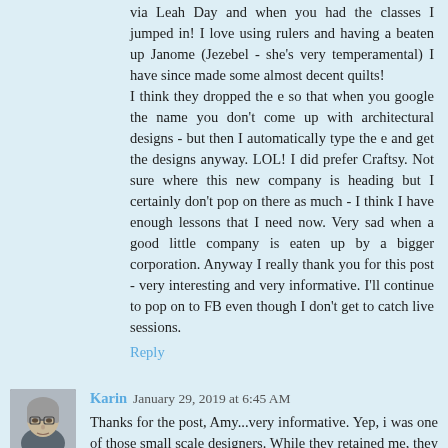via Leah Day and when you had the classes I jumped in! I love using rulers and having a beaten up Janome (Jezebel - she's very temperamental) I have since made some almost decent quilts! I think they dropped the e so that when you google the name you don't come up with architectural designs - but then I automatically type the e and get the designs anyway. LOL! I did prefer Craftsy. Not sure where this new company is heading but I certainly don't pop on there as much - I think I have enough lessons that I need now. Very sad when a good little company is eaten up by a bigger corporation. Anyway I really thank you for this post - very interesting and very informative. I'll continue to pop on to FB even though I don't get to catch live sessions.
Reply
[Figure (photo): Small square avatar photo of Karin, a person with short gray hair and glasses]
Karin  January 29, 2019 at 6:45 AM
Thanks for the post, Amy...very informative. Yep, i was one of those small scale designers. While they retained me, they took 5 patterns off. I did not do anything before Christmas other than getting some photos off their site. Went on Etsy but I doubt that that is going to work for me. Do not understand where they are going with their site. Once they open it again for Patterns, how